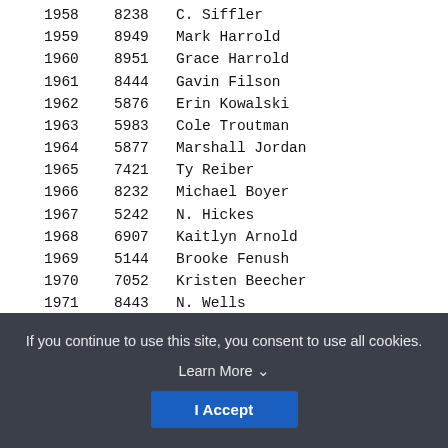| # | ID | Name |
| --- | --- | --- |
| 1958 | 8238 | C. Siffler |
| 1959 | 8949 | Mark Harrold |
| 1960 | 8951 | Grace Harrold |
| 1961 | 8444 | Gavin Filson |
| 1962 | 5876 | Erin Kowalski |
| 1963 | 5983 | Cole Troutman |
| 1964 | 5877 | Marshall Jordan |
| 1965 | 7421 | Ty Reiber |
| 1966 | 8232 | Michael Boyer |
| 1967 | 5242 | N. Hickes |
| 1968 | 6907 | Kaitlyn Arnold |
| 1969 | 5144 | Brooke Fenush |
| 1970 | 7052 | Kristen Beecher |
| 1971 | 8443 | N. Wells |
| 1972 | 6648 | Dave Hykes |
| 1973 | 5246 | Tom Hickes |
| 1974 | 8369 | Leah Workinger |
| 1975 | 9088 | Jenny Hughes |
| 1976 | 8442 | Donielle Stewart |
| 1977 | 6939 | Laurel Crumling |
| 1978 | 6656 | Meghan McCurdy |
| 1979 | 8087 | Ellie Stiffl... |
If you continue to use this site, you consent to use all cookies. Learn More ∨
I Accept